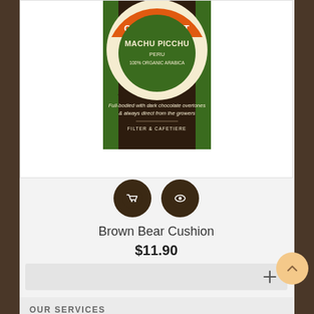[Figure (photo): A dark brown coffee package labeled 'Cafedirect Machu Picchu Peru 100% Organic Arabica - Made the Small Way' with orange, green and cream circular logo. Text reads 'Full-bodied with dark chocolate overtones & always direct from the growers. Filter & cafetiere.']
[Figure (infographic): Two dark brown circular icon buttons: a shopping cart icon and an eye/view icon]
Brown Bear Cushion
$11.90
[Figure (infographic): Light gray bar with a plus (+) sign on the right side, used as an add-to-cart or expand button]
OUR SERVICES
FREE SHIPPING